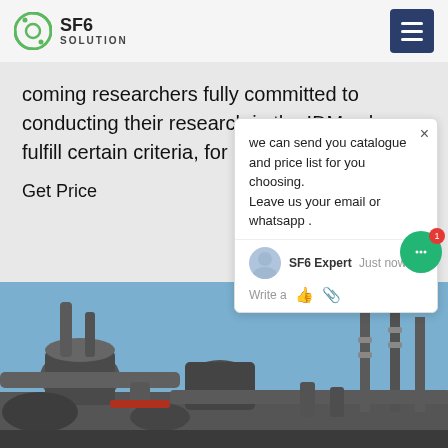SF6 SOLUTION
coming researchers fully committed to conducting their research in the IDM, who fulfill certain criteria, for 3
Get Price
[Figure (screenshot): Chat popup overlay from SF6 Expert showing message: 'we can send you catalogue and price list for you choosing. Leave us your email or whatsapp .']
[Figure (photo): Industrial electrical substation with large transformers, pipes, and high-voltage equipment against a blue sky]